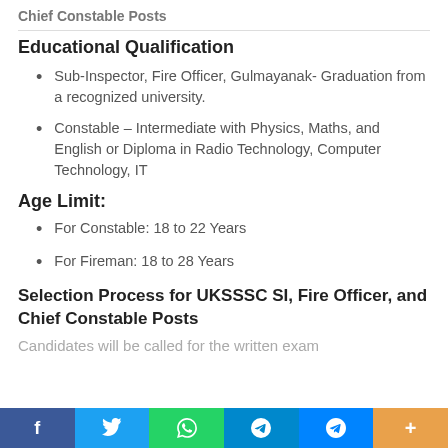Chief Constable Posts
Educational Qualification
Sub-Inspector, Fire Officer, Gulmayanak- Graduation from a recognized university.
Constable – Intermediate with Physics, Maths, and English or Diploma in Radio Technology, Computer Technology, IT
Age Limit:
For Constable: 18 to 22 Years
For Fireman: 18 to 28 Years
Selection Process for UKSSSC SI, Fire Officer, and Chief Constable Posts
Candidates will be called for the written exam